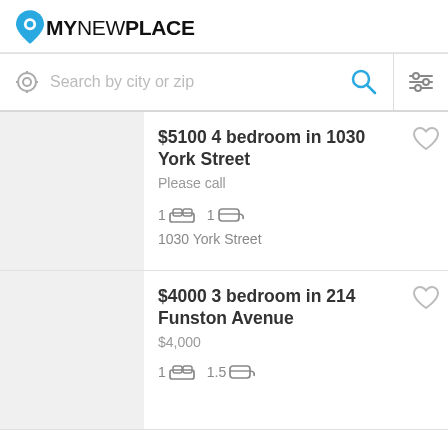[Figure (logo): MyNewPlace logo with map pin icon]
Search by city or zip
$5100 4 bedroom in 1030 York Street
Please call
1 bed  1 bath
1030 York Street
$4000 3 bedroom in 214 Funston Avenue
$4,000
1 bed  1.5 bath